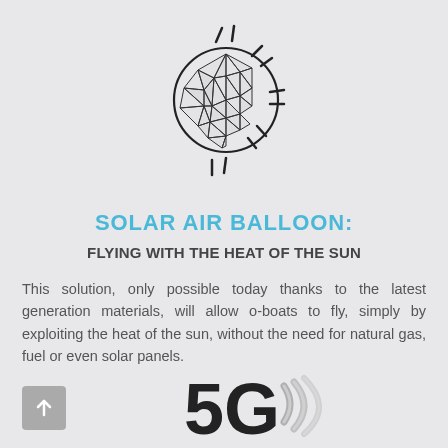[Figure (illustration): Solar air balloon icon: a geometric low-poly sphere combined with a sun symbol showing rays radiating outward]
SOLAR AIR BALLOON:
FLYING WITH THE HEAT OF THE SUN
This solution, only possible today thanks to the latest generation materials, will allow o-boats to fly, simply by exploiting the heat of the sun, without the need for natural gas, fuel or even solar panels.
[Figure (logo): 5G logo with signal/wifi arc waves icon in metallic/chrome style]